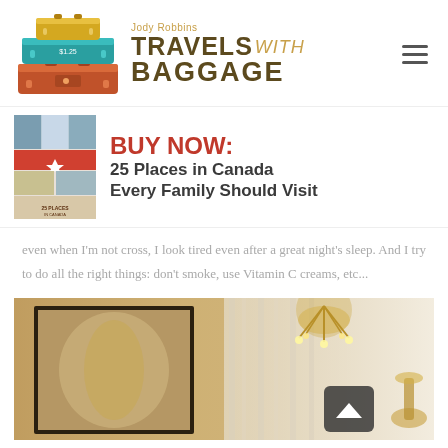[Figure (logo): Jody Robbins Travels with Baggage website logo with stacked colorful suitcases illustration and hamburger menu icon]
[Figure (infographic): BUY NOW: 25 Places in Canada Every Family Should Visit book advertisement with book cover image]
even when I'm not cross, I look tired even after a great night's sleep. And I try to do all the right things: don't smoke, use Vitamin C creams, etc...
[Figure (photo): Interior room photo showing a chandelier, framed wall art, and sheer curtains with a scroll-to-top button overlay]